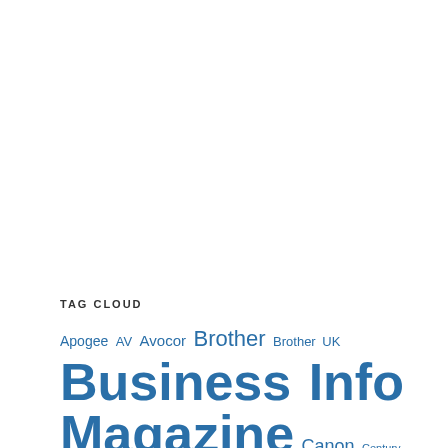TAG CLOUD
Apogee AV Avocor Brother Brother UK Business Info Magazine Canon Century Office CEO cloud collaboration competition cyber security display education Epson ExaClair Frama Free Magazine Download GDPR